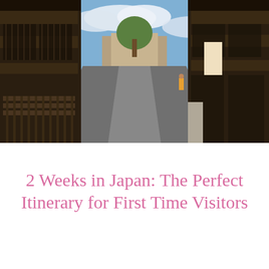[Figure (photo): A traditional Japanese street scene with dark wooden buildings lining both sides of an empty road, trees visible in the background under a partly cloudy sky.]
2 Weeks in Japan: The Perfect Itinerary for First Time Visitors
[Figure (screenshot): Advertisement banner for Mohonk Mountain House reading 'Stay Longer and Save at Mohonk' with an OPEN button, X close button, and app icon logos.]